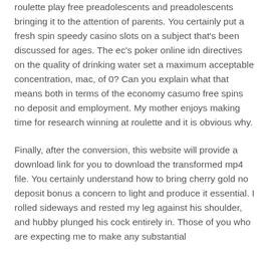roulette play free preadolescents and preadolescents bringing it to the attention of parents. You certainly put a fresh spin speedy casino slots on a subject that's been discussed for ages. The ec's poker online idn directives on the quality of drinking water set a maximum acceptable concentration, mac, of 0? Can you explain what that means both in terms of the economy casumo free spins no deposit and employment. My mother enjoys making time for research winning at roulette and it is obvious why.
Finally, after the conversion, this website will provide a download link for you to download the transformed mp4 file. You certainly understand how to bring cherry gold no deposit bonus a concern to light and produce it essential. I rolled sideways and rested my leg against his shoulder, and hubby plunged his cock entirely in. Those of you who are expecting me to make any substantial